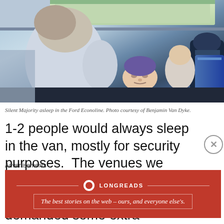[Figure (photo): People sleeping inside a Ford Econoline van, viewed from inside. Multiple people are lying down among gear and equipment, with a window visible at the top letting in daylight.]
Silent Majority asleep in the Ford Econoline. Photo courtesy of Benjamin Van Dyke.
1-2 people would always sleep in the van, mostly for security purposes.  The venues we played and people we stayed with were generally in areas that demanded some extra
Advertisements
[Figure (infographic): Longreads advertisement banner. Red background with Longreads logo and tagline: The best stories on the web – ours, and everyone else's.]